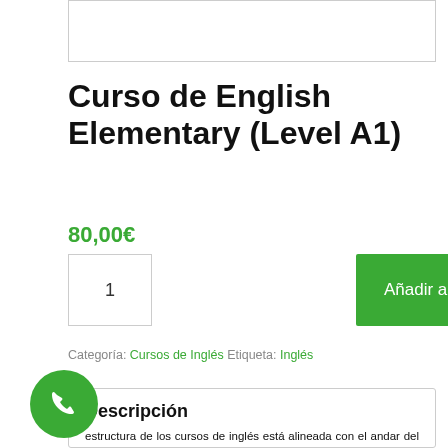[Figure (other): Top image placeholder box (white rectangle with border)]
Curso de English Elementary (Level A1)
80,00€
1  Añadir al carrito
Categoría: Cursos de Inglés Etiqueta: Inglés
Descripción
estructura de los cursos de inglés está alineada con el andar del Marco Común Europeo de Referencia para las Lenguas – MCER – En la experiencia de aprendizaje en